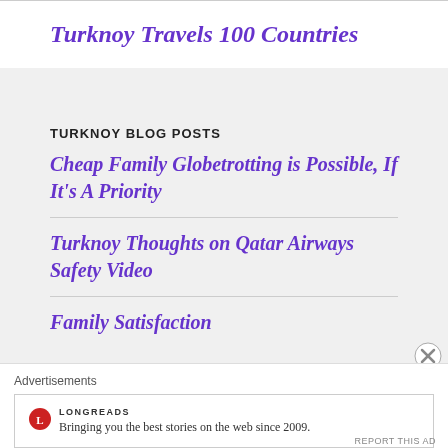Turknoy Travels 100 Countries
TURKNOY BLOG POSTS
Cheap Family Globetrotting is Possible, If It's A Priority
Turknoy Thoughts on Qatar Airways Safety Video
Family Satisfaction
Advertisements
[Figure (other): Longreads advertisement: circular red logo with L, text 'LONGREADS', tagline 'Bringing you the best stories on the web since 2009.']